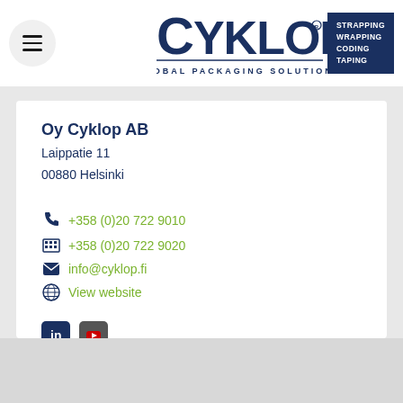[Figure (logo): Cyklop Global Packaging Solutions logo with tagline box: STRAPPING WRAPPING CODING TAPING]
Oy Cyklop AB
Laippatie 11
00880 Helsinki
+358 (0)20 722 9010
+358 (0)20 722 9020
info@cyklop.fi
View website
[Figure (logo): LinkedIn and YouTube social media icons]